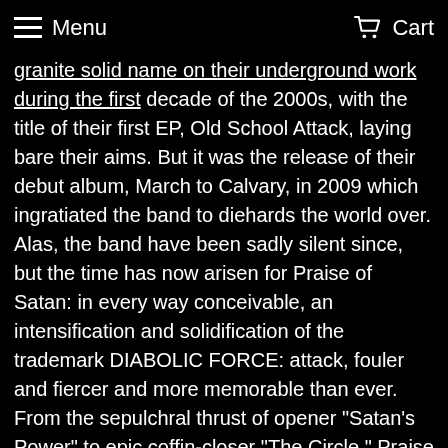Menu  Cart
granite solid name on their underground work during the first decade of the 2000s, with the title of their first EP, Old School Attack, laying bare their aims. But it was the release of their debut album, March to Calvary, in 2009 which ingratiated the band to diehards the world over. Alas, the band have been sadly silent since, but the time has now arisen for Praise of Satan: in every way conceivable, an intensification and solidification of the trademark DIABOLIC FORCE: attack, fouler and fiercer and more memorable than ever. From the sepulchral thrust of opener "Satan's Power" to epic coffin-closer "The Circle," Praise of Satan is the fullest, filthiest expression of DIABOLIC FORCE yet. Across ten tracks in a compact 32 minutes, the album ranges everything in the band's arsenal - punkish gallop, chaotic speed, loose 'n' lawless execution, dungeon-bred darkness, immediate headbangability - making for a wild 'n' wily ride through the realm of ancient metal. It's a strict (and stratifying) sound that